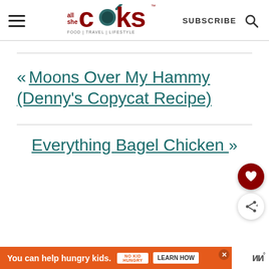all she cooks — FOOD | TRAVEL | LIFESTYLE — SUBSCRIBE
« Moons Over My Hammy (Denny's Copycat Recipe)
Everything Bagel Chicken »
You can help hungry kids. NO KID HUNGRY LEARN HOW